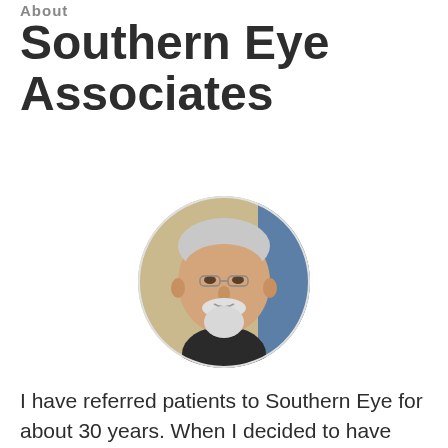About
Southern Eye Associates
[Figure (photo): Circular portrait photo of an elderly man with white hair and beard, wearing a dark shirt, against a warm beige/yellow background.]
I have referred patients to Southern Eye for about 30 years. When I decided to have cataract surgery, I knew I would get special treatment and excellent medical care. I was not disappointed. But what I noticed was every patient was also receiving “special care.” Everyone was